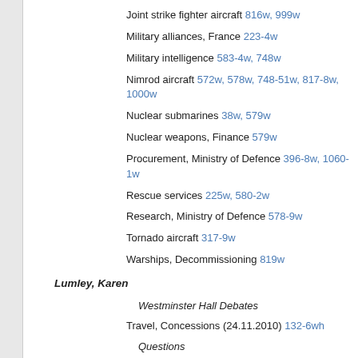Joint strike fighter aircraft 816w, 999w
Military alliances, France 223-4w
Military intelligence 583-4w, 748w
Nimrod aircraft 572w, 578w, 748-51w, 817-8w, 1000w
Nuclear submarines 38w, 579w
Nuclear weapons, Finance 579w
Procurement, Ministry of Defence 396-8w, 1060-1w
Rescue services 225w, 580-2w
Research, Ministry of Defence 578-9w
Tornado aircraft 317-9w
Warships, Decommissioning 819w
Lumley, Karen
Westminster Hall Debates
Travel, Concessions (24.11.2010) 132-6wh
Questions
Specialist schools, Finance 545w
Luton
Arts 777w